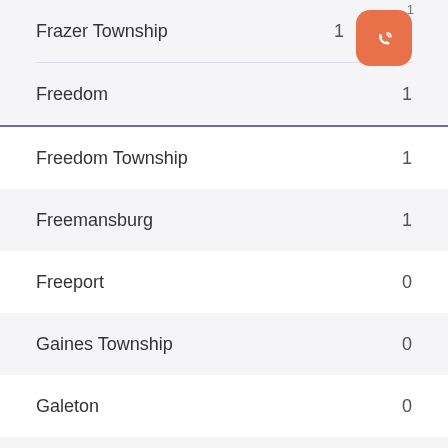| Location | Count |
| --- | --- |
| Frazer Township | 1 |
| Freedom | 1 |
| Freedom Township | 1 |
| Freemansburg | 1 |
| Freeport | 0 |
| Gaines Township | 0 |
| Galeton | 0 |
| Gallitzin | 0 |